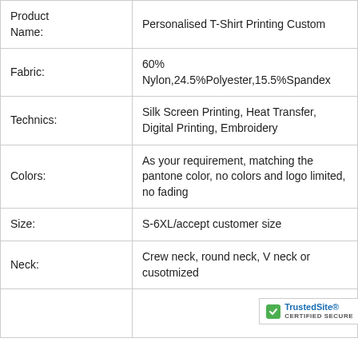| Attribute | Value |
| --- | --- |
| Product Name: | Personalised T-Shirt Printing Custom |
| Fabric: | 60% Nylon,24.5%Polyester,15.5%Spandex |
| Technics: | Silk Screen Printing, Heat Transfer, Digital Printing, Embroidery |
| Colors: | As your requirement, matching the pantone color, no colors and logo limited, no fading |
| Size: | S-6XL/accept customer size |
| Neck: | Crew neck, round neck, V neck or cusotmized |